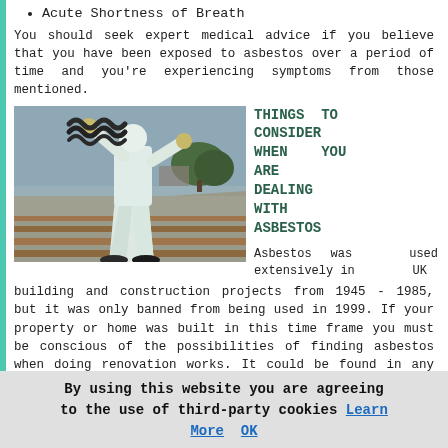Acute Shortness of Breath
You should seek expert medical advice if you believe that you have been exposed to asbestos over a period of time and you're experiencing symptoms from those mentioned.
[Figure (photo): Worker in white protective suit and gloves removing corrugated asbestos roofing sheets on a building roof]
THINGS TO CONSIDER WHEN YOU ARE DEALING WITH ASBESTOS
Asbestos was used extensively in UK building and construction projects from 1945 - 1985, but it was only banned from being used in 1999. If your property or home was built in this time frame you must be conscious of the possibilities of finding asbestos when doing renovation works. It could be found in any section of an
By using this website you are agreeing to the use of third-party cookies Learn More OK